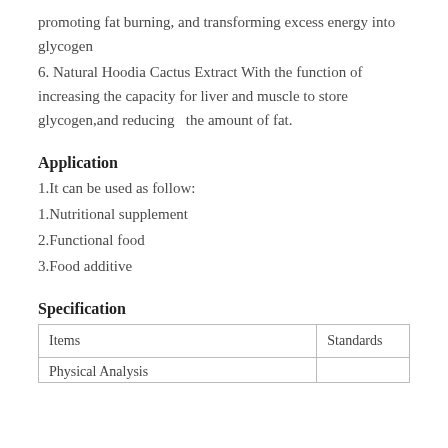promoting fat burning, and transforming excess energy into glycogen
6. Natural Hoodia Cactus Extract With the function of increasing the capacity for liver and muscle to store glycogen,and reducing  the amount of fat.
Application
1.It can be used as follow:
1.Nutritional supplement
2.Functional food
3.Food additive
Specification
| Items | Standards |
| --- | --- |
| Physical Analysis |  |